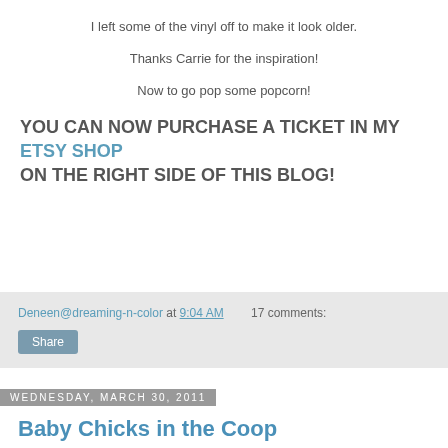I left some of the vinyl off to make it look older.
Thanks Carrie for the inspiration!
Now to go pop some popcorn!
YOU CAN NOW PURCHASE A TICKET IN MY ETSY SHOP ON THE RIGHT SIDE OF THIS BLOG!
Deneen@dreaming-n-color at 9:04 AM   17 comments:
Share
Wednesday, March 30, 2011
Baby Chicks in the Coop